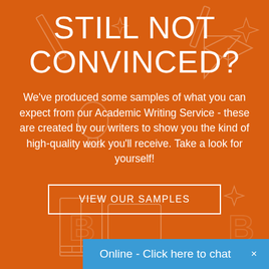STILL NOT CONVINCED?
We've produced some samples of what you can expect from our Academic Writing Service - these are created by our writers to show you the kind of high-quality work you'll receive. Take a look for yourself!
VIEW OUR SAMPLES
Online - Click here to chat ×